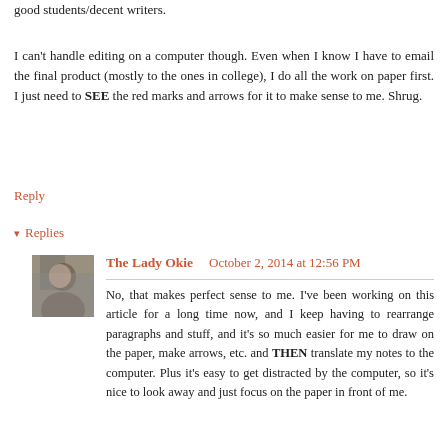good students/decent writers.
I can't handle editing on a computer though. Even when I know I have to email the final product (mostly to the ones in college), I do all the work on paper first. I just need to SEE the red marks and arrows for it to make sense to me. Shrug.
Reply
▾ Replies
The Lady Okie   October 2, 2014 at 12:56 PM
No, that makes perfect sense to me. I've been working on this article for a long time now, and I keep having to rearrange paragraphs and stuff, and it's so much easier for me to draw on the paper, make arrows, etc. and THEN translate my notes to the computer. Plus it's easy to get distracted by the computer, so it's nice to look away and just focus on the paper in front of me.